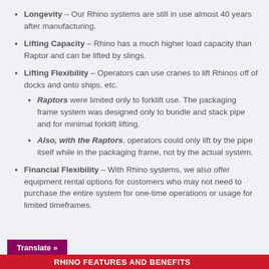Longevity – Our Rhino systems are still in use almost 40 years after manufacturing.
Lifting Capacity – Rhino has a much higher load capacity than Raptor and can be lifted by slings.
Lifting Flexibility – Operators can use cranes to lift Rhinos off of docks and onto ships, etc.
Raptors were limited only to forklift use. The packaging frame system was designed only to bundle and stack pipe and for minimal forklift lifting.
Also, with the Raptors, operators could only lift by the pipe itself while in the packaging frame, not by the actual system.
Financial Flexibility – With Rhino systems, we also offer equipment rental options for customers who may not need to purchase the entire system for one-time operations or usage for limited timeframes.
Translate »
RHINO FEATURES AND BENEFITS